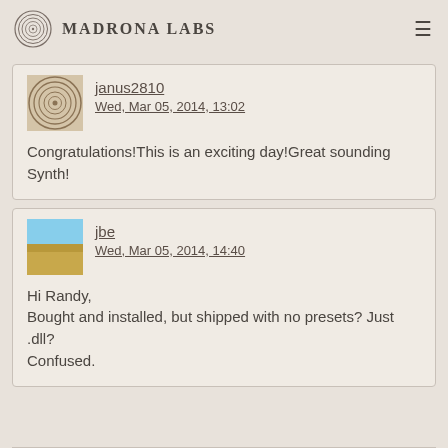Madrona Labs
janus2810
Wed, Mar 05, 2014, 13:02

Congratulations!This is an exciting day!Great sounding Synth!
jbe
Wed, Mar 05, 2014, 14:40

Hi Randy,
Bought and installed, but shipped with no presets? Just .dll?
Confused.